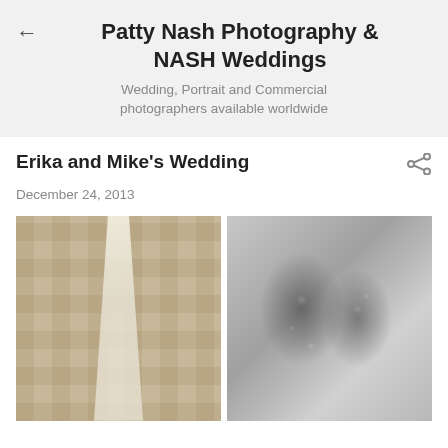Patty Nash Photography & NASH Weddings
Wedding, Portrait and Commercial photographers available worldwide
Erika and Mike's Wedding
December 24, 2013
[Figure (photo): Two wedding photos side by side: left shows a white bridal veil hanging against a geometric tile wall; right shows ornate crystal/rhinestone earrings hanging on a hanger]
[Figure (photo): Close-up of ornate crystal/rhinestone drop earrings hanging against a blurred background]